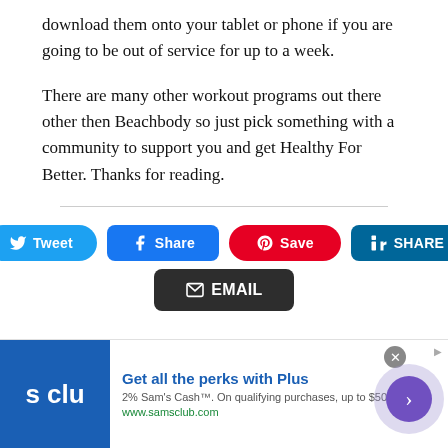download them onto your tablet or phone if you are going to be out of service for up to a week.
There are many other workout programs out there other then Beachbody so just pick something with a community to support you and get Healthy For Better. Thanks for reading.
[Figure (infographic): Social sharing buttons: Tweet (Twitter, blue), Share (Facebook, blue), Save (Pinterest, red), SHARE (LinkedIn, teal), EMAIL (dark button)]
[Figure (infographic): Advertisement banner: Sam's Club 'Get all the perks with Plus' ad with blue logo, text about 2% Sam's Cash on qualifying purchases up to $500/year, www.samsclub.com, with a purple arrow button and close X button]